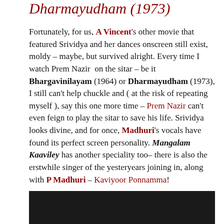Dharmayudham (1973)
Fortunately, for us, A Vincent's other movie that featured Srividya and her dances onscreen still exist, moldy – maybe, but survived alright. Every time I watch Prem Nazir on the sitar – be it Bhargavinilayam (1964) or Dharmayudham (1973), I still can't help chuckle and ( at the risk of repeating myself ), say this one more time – Prem Nazir can't even feign to play the sitar to save his life. Srividya looks divine, and for once, Madhuri's vocals have found its perfect screen personality. Mangalam Kaaviley has another speciality too– there is also the erstwhile singer of the yesteryears joining in, along with P Madhuri – Kaviyoor Ponnamma!
[Figure (photo): Dark/black image area at the bottom of the page]